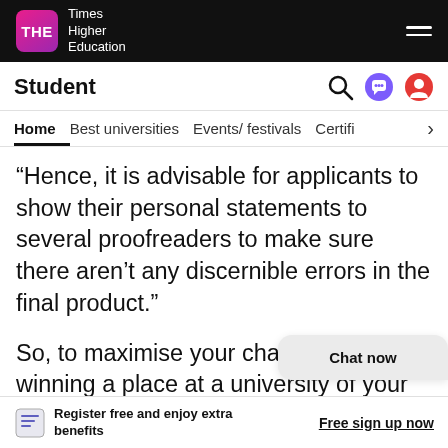THE Times Higher Education
Student
Home  Best universities  Events/ festivals  Certifi
“Hence, it is advisable for applicants to show their personal statements to several proofreaders to make sure there aren’t any discernible errors in the final product.”
So, to maximise your chances of winning a place at a university of your choice, and of producing your best work when y... there, these are the common errors to look
Register free and enjoy extra benefits
Free sign up now